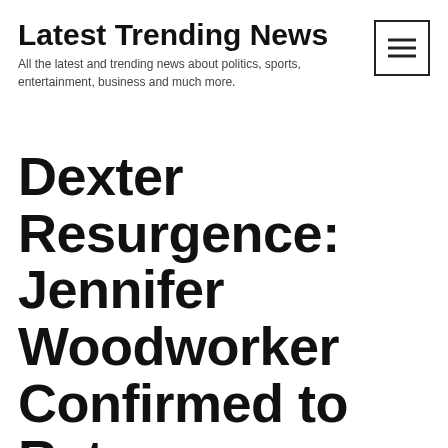Latest Trending News
All the latest and trending news about politics, sports, entertainment, business and much more.
Dexter Resurgence: Jennifer Woodworker Confirmed to Return as Collection Normal–Below's Exactly how Deborah Will Be Reanimated